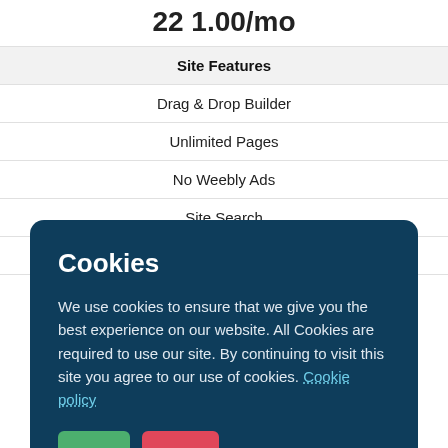22 1.00/mo
| Site Features |
| --- |
| Drag & Drop Builder |
| Unlimited Pages |
| No Weebly Ads |
| Site Search |
| Password Protection |
Cookies
We use cookies to ensure that we give you the best experience on our website. All Cookies are required to use our site. By continuing to visit this site you agree to our use of cookies. Cookie policy
Accept
Decline
Checkout on Weebly.com